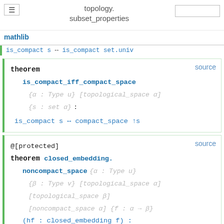topology. subset_properties
is_compact s ↔ is_compact set.univ
theorem is_compact_iff_compact_space {α : Type u} [topological_space α] {s : set α} : is_compact s ↔ compact_space ↑s — source
@[protected] theorem closed_embedding. noncompact_space {α : Type u} {β : Type v} [topological_space α] [topological_space β] [noncompact_space α] {f : α → β} (hf : closed_embedding f) : noncompact_space β — source
theorem